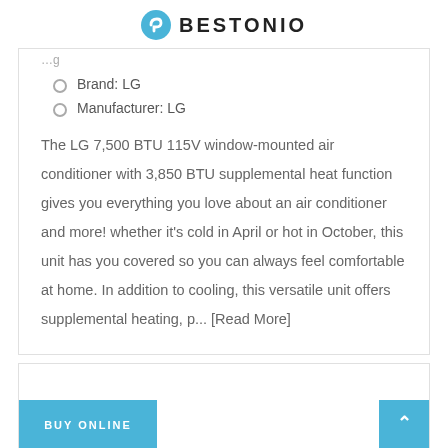BESTONIO
Brand: LG
Manufacturer: LG
The LG 7,500 BTU 115V window-mounted air conditioner with 3,850 BTU supplemental heat function gives you everything you love about an air conditioner and more! whether it's cold in April or hot in October, this unit has you covered so you can always feel comfortable at home. In addition to cooling, this versatile unit offers supplemental heating, p... [Read More]